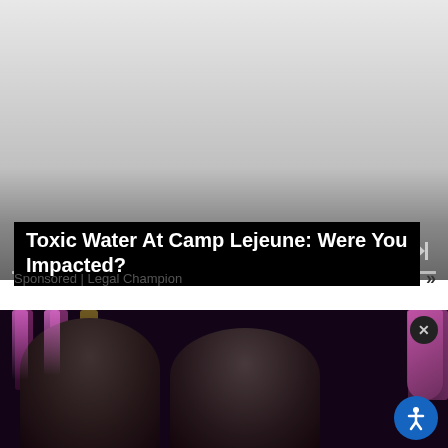[Figure (screenshot): Video player with gray gradient background, pause and skip buttons, and segmented progress bar at bottom]
Toxic Water At Camp Lejeune: Were You Impacted?
Sponsored | Legal Champion
[Figure (photo): Two men smiling at a dark venue with neon pink and purple lights in the background, one man wearing a black jacket and the other in dark hoodie with glasses and backward cap]